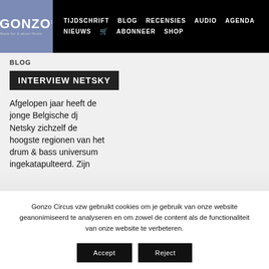GONZO - TIJDSCHRIFT BLOG RECENSIES AUDIO AGENDA NIEUWS ABONNEER SHOP
BLOG
INTERVIEW NETSKY
Afgelopen jaar heeft de jonge Belgische dj Netsky zichzelf de hoogste regionen van het drum & bass universum ingekatapulteerd. Zijn
Gonzo Circus vzw gebruikt cookies om je gebruik van onze website geanonimiseerd te analyseren en om zowel de content als de functionaliteit van onze website te verbeteren.
Accept
Reject
Lees meer in onze privacyverklaring